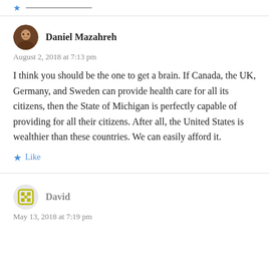★  ——
Daniel Mazahreh
August 2, 2018 at 7:13 pm
I think you should be the one to get a brain. If Canada, the UK, Germany, and Sweden can provide health care for all its citizens, then the State of Michigan is perfectly capable of providing for all their citizens. After all, the United States is wealthier than these countries. We can easily afford it.
★ Like
David
May 13, 2018 at 7:19 pm